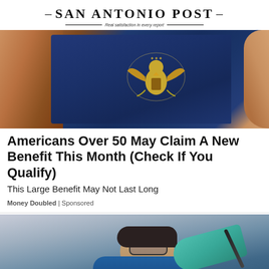SAN ANTONIO POST — Real satisfaction in every report
[Figure (photo): Close-up of hands holding a US passport showing the gold eagle emblem on a dark blue cover]
Americans Over 50 May Claim A New Benefit This Month (Check If You Qualify)
This Large Benefit May Not Last Long
Money Doubled | Sponsored
[Figure (photo): Medical professional in blue scrubs and teal gloves examining or treating a patient who is wearing glasses and lying down]